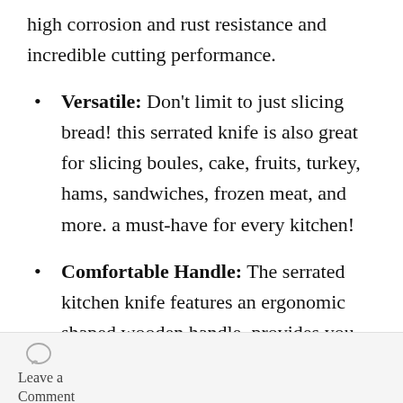high corrosion and rust resistance and incredible cutting performance.
Versatile: Don't limit to just slicing bread! this serrated knife is also great for slicing boules, cake, fruits, turkey, hams, sandwiches, frozen meat, and more. a must-have for every kitchen!
Comfortable Handle: The serrated kitchen knife features an ergonomic shaped wooden handle, provides you with a comfortable and secure grip which
Leave a Comment